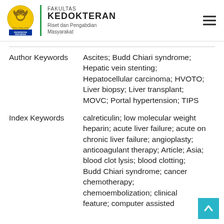FAKULTAS KEDOKTERAN Riset dan Pengabdian Masyarakat — Universitas Indonesia
Author Keywords   Ascites; Budd Chiari syndrome; Hepatic vein stenting; Hepatocellular carcinoma; HVOTO; Liver biopsy; Liver transplant; MOVC; Portal hypertension; TIPS
Index Keywords   calreticulin; low molecular weight heparin; acute liver failure; acute on chronic liver failure; angioplasty; anticoagulant therapy; Article; Asia; blood clot lysis; blood clotting; Budd Chiari syndrome; cancer chemotherapy; chemoembolization; clinical feature; computer assisted